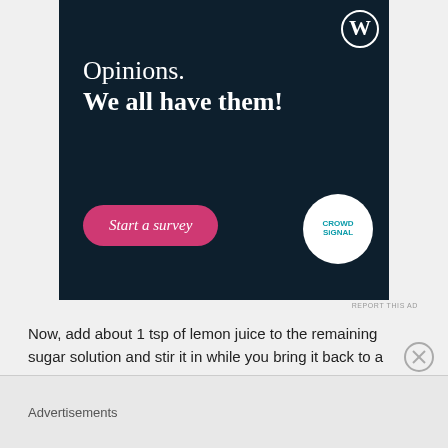[Figure (screenshot): WordPress/Crowdsignal advertisement banner with dark navy background. Shows 'Opinions. We all have them!' in white text with a WordPress logo (W in circle) top right, a pink 'Start a survey' button bottom left, and Crowdsignal circular logo bottom right.]
REPORT THIS AD
Now, add about 1 tsp of lemon juice to the remaining sugar solution and stir it in while you bring it back to a boil. Let it simmer for 30-60 seconds and remove it from heat. Pour this remaining sugar solution into a second
Advertisements